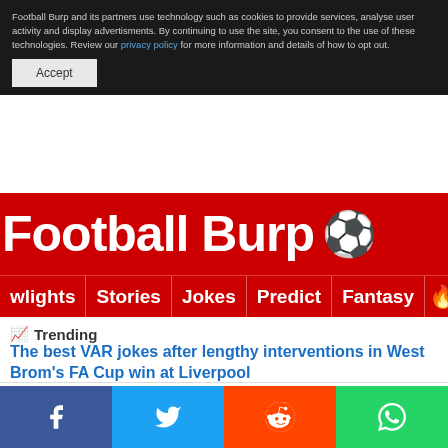Football Burp and its partners use technology such as cookies to provide services, analyse user activity and display advertisments. By continuing to use the site, you consent to the use of these technologies. Review our privacy policy for more information and details of how to opt out.
Accept
Football Burp 🏈
wlights | Stories | Jokes | Predict | Fantasy 🔥🔍
📈 Trending
The best VAR jokes after lengthy interventions in West Brom's FA Cup win at Liverpool
Football Score Predictions · Premier League Tips